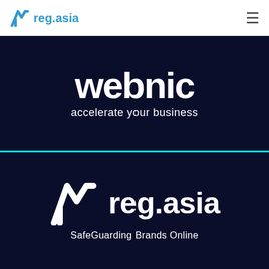[Figure (logo): reg.asia logo in top navigation bar with hamburger menu icon]
[Figure (logo): Webnic logo with tagline 'accelerate your business' on dark navy background]
[Figure (logo): reg.asia logo with tagline 'SafeGuarding Brands Online' on dark navy background]